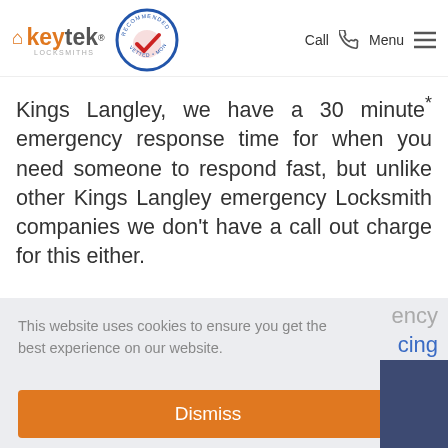keytek LOCKSMITHS — Recommended Vetted Monitored badge — Call | Menu
Kings Langley, we have a 30 minute* emergency response time for when you need someone to respond fast, but unlike other Kings Langley emergency Locksmith companies we don't have a call out charge for this either.
This website uses cookies to ensure you get the best experience on our website.
View our cookie policy.
Dismiss